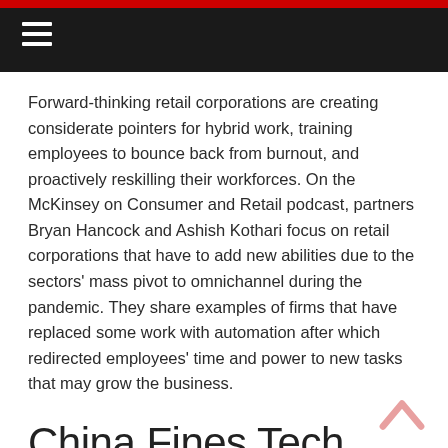≡
Forward-thinking retail corporations are creating considerate pointers for hybrid work, training employees to bounce back from burnout, and proactively reskilling their workforces. On the McKinsey on Consumer and Retail podcast, partners Bryan Hancock and Ashish Kothari focus on retail corporations that have to add new abilities due to the sectors' mass pivot to omnichannel during the pandemic. They share examples of firms that have replaced some work with automation after which redirected employees' time and power to new tasks that may grow the business.
China Fines Tech Giants For Distributing Sexually